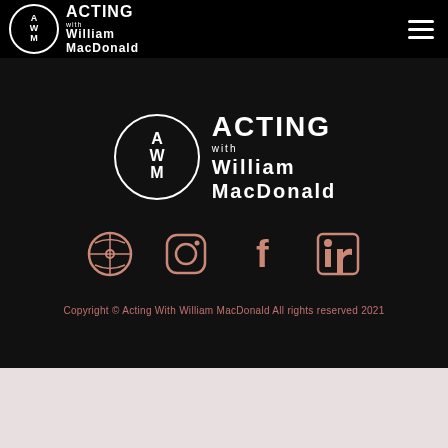[Figure (logo): Acting with William MacDonald (AWM) logo in header — circular emblem with AWM letters and text]
[Figure (other): Hamburger menu icon (three horizontal lines) in top right corner]
[Figure (logo): Acting with William MacDonald (AWM) large centered logo in footer section]
[Figure (other): Four social media icons in a row: WordPress, Instagram, Facebook, LinkedIn — salmon/pink color]
Copyright © Acting With William MacDonald All rights reserved 2021